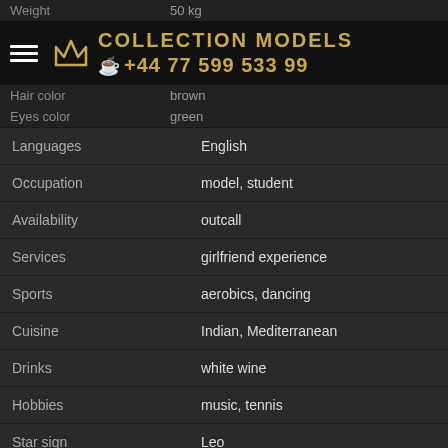Weight  50 kg
COLLECTION MODELS  +44 77 599 533 99
Hair color  brown
Eyes color  green
| Field | Value |
| --- | --- |
| Languages | English |
| Occupation | model, student |
| Availability | outcall |
| Services | girlfriend experience |
| Sports | aerobics, dancing |
| Cuisine | Indian, Mediterranean |
| Drinks | white wine |
| Hobbies | music, tennis |
| Star sign | Leo |
| Flowers | tulips |
Donations
| Duration | Price |
| --- | --- |
| 1 hour | £600 |